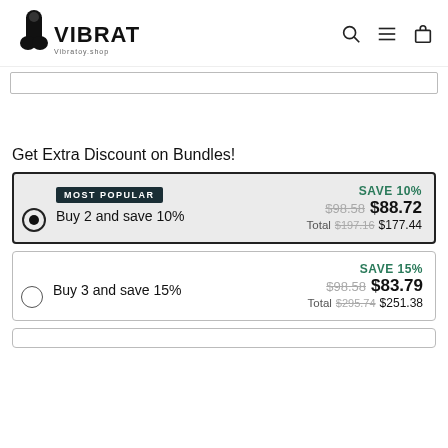[Figure (logo): Vibratoy logo with stylized V icon and text VIBRATOY, tagline Vibratoy.shop]
Get Extra Discount on Bundles!
MOST POPULAR — Buy 2 and save 10% — SAVE 10% — $98.58 $88.72 — Total $197.16 $177.44
Buy 3 and save 15% — SAVE 15% — $98.58 $83.79 — Total $295.74 $251.38